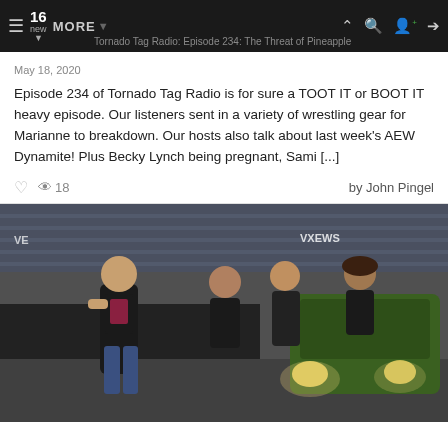≡  16 new ▾  MORE ▾  Tornado Tag Radio: Episode 234: The Threat of Pineapple Pete  ∧ 🔍 👤 ➡
May 18, 2020
Episode 234 of Tornado Tag Radio is for sure a TOOT IT or BOOT IT heavy episode. Our listeners sent in a variety of wrestling gear for Marianne to breakdown. Our hosts also talk about last week's AEW Dynamite! Plus Becky Lynch being pregnant, Sami [...]
♡  👁 18  by John Pingel
[Figure (photo): Photo of wrestlers and a green utility vehicle/ATV on what appears to be a stadium floor, with a young man in a black shirt running in the foreground and other people behind him.]